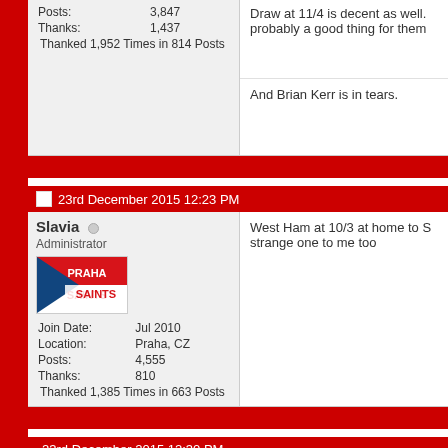Posts: 3,847
Thanks: 1,437
Thanked 1,952 Times in 814 Posts
Draw at 11/4 is decent as well. probably a good thing for them
And Brian Kerr is in tears.
23rd December 2015 12:23 PM
Slavia
Administrator
Join Date: Jul 2010
Location: Praha, CZ
Posts: 4,555
Thanks: 810
Thanked 1,385 Times in 663 Posts
West Ham at 10/3 at home to S strange one to me too
23rd December 2015 12:30 PM